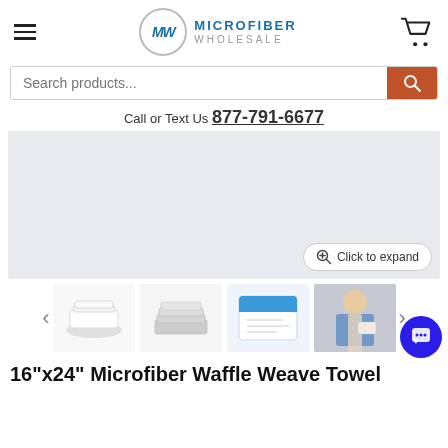Microfiber Wholesale — site header with hamburger menu, logo, and cart icon
Search products...
Call or Text Us 877-791-6677
[Figure (photo): Product image area with light gray background and 'Click to expand' button]
[Figure (photo): Thumbnail row showing four product images: folded white towels, stacked gray towels, product packaging, person holding towel]
16"x24" Microfiber Waffle Weave Towel